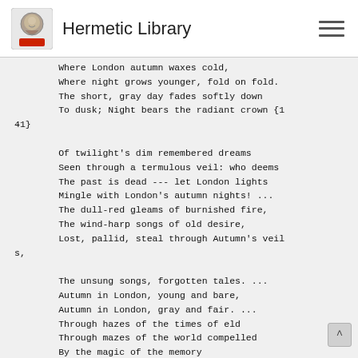Hermetic Library
Where London autumn waxes cold,
Where night grows younger, fold on fold.
The short, gray day fades softly down
To dusk; Night bears the radiant crown {141}

Of twilight's dim remembered dreams
Seen through a termulous veil: who deems
The past is dead --- let London lights
Mingle with London's autumn nights! ...
The dull-red gleams of burnished fire,
The wind-harp songs of old desire,
Lost, pallid, steal through Autumn's veils,

The unsung songs, forgotten tales. ...
Autumn in London, young and bare,
Autumn in London, gray and fair. ...
Through hazes of the times of eld
Through mazes of the world compelled
By the magic of the memory
Of the love born by a sunlit sea ---
Through the gray dusk a faint pink glows,